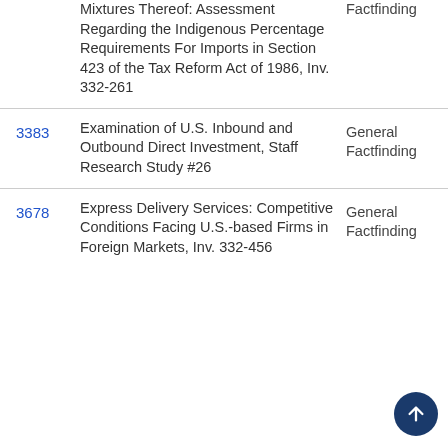|  | Title | Type |
| --- | --- | --- |
|  | Mixtures Thereof: Assessment Regarding the Indigenous Percentage Requirements For Imports in Section 423 of the Tax Reform Act of 1986, Inv. 332-261 | Factfinding |
| 3383 | Examination of U.S. Inbound and Outbound Direct Investment, Staff Research Study #26 | General Factfinding |
| 3678 | Express Delivery Services: Competitive Conditions Facing U.S.-based Firms in Foreign Markets, Inv. 332-456 | General Factfinding |